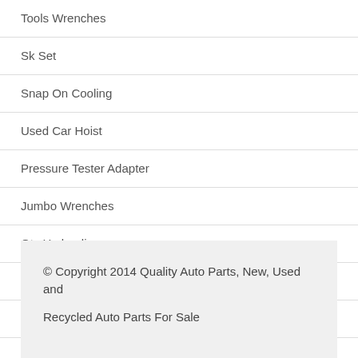Tools Wrenches
Sk Set
Snap On Cooling
Used Car Hoist
Pressure Tester Adapter
Jumbo Wrenches
Otc Hydraulic
Pass Thru
Valve Guide Hone
Craftsman Metric Wrenches
© Copyright 2014 Quality Auto Parts, New, Used and Recycled Auto Parts For Sale